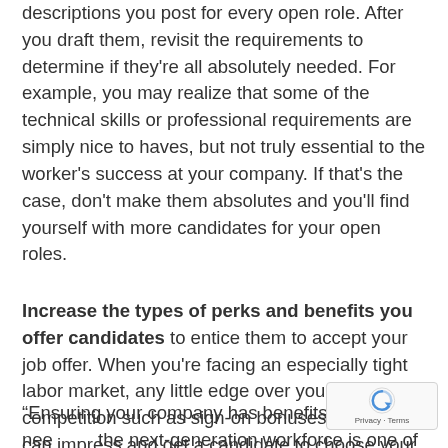descriptions you post for every open role. After you draft them, revisit the requirements to determine if they're all absolutely needed. For example, you may realize that some of the technical skills or professional requirements are simply nice to haves, but not truly essential to the worker's success at your company. If that's the case, don't make them absolutes and you'll find yourself with more candidates for your open roles.
Increase the types of perks and benefits you offer candidates to entice them to accept your job offer. When you're facing an especially tight labor market, any little edge over your competition such as sign-on bonuses or benefits can impress and get a candidate to choose your company over a competitor.
“Ensuring your company has benefits that fit the needs of the next-generation workforce is one of the most important